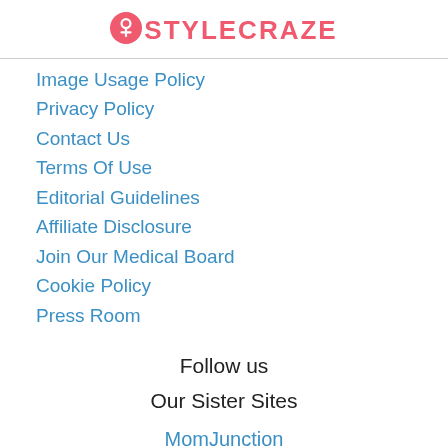STYLECRAZE
Image Usage Policy
Privacy Policy
Contact Us
Terms Of Use
Editorial Guidelines
Affiliate Disclosure
Join Our Medical Board
Cookie Policy
Press Room
Follow us
Our Sister Sites
MomJunction
The BridalBox